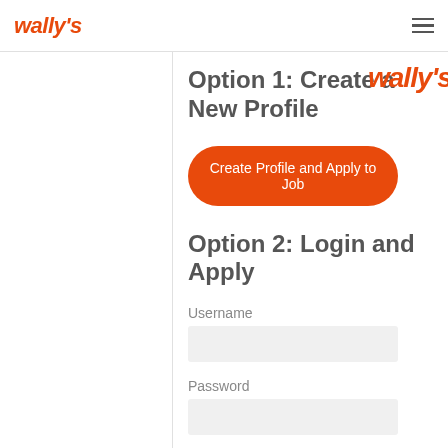wally's
Option 1: Create a New Profile
Create Profile and Apply to Job
Option 2: Login and Apply
Username
Password